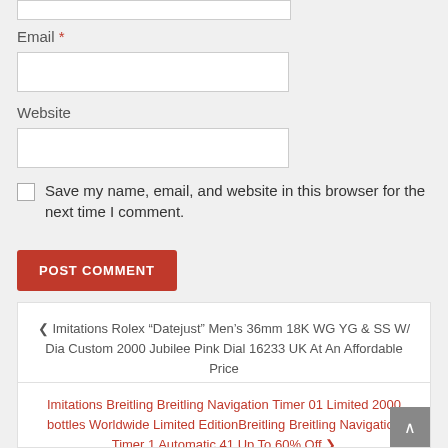Email *
Website
Save my name, email, and website in this browser for the next time I comment.
POST COMMENT
< Imitations Rolex “Datejust” Men’s 36mm 18K WG YG & SS W/ Dia Custom 2000 Jubilee Pink Dial 16233 UK At An Affordable Price
Imitations Breitling Breitling Navigation Timer 01 Limited 2000 bottles Worldwide Limited EditionBreitling Breitling Navigation Timer 1 Automatic 41 Up To 60% Off >